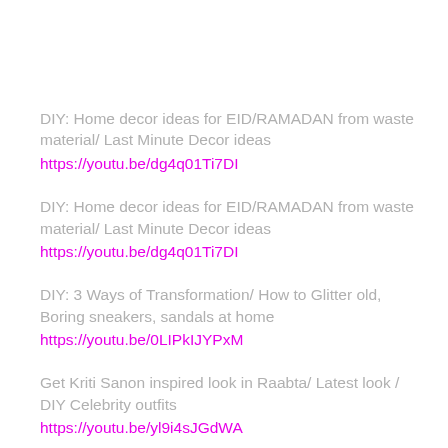DIY: Home decor ideas for EID/RAMADAN from waste material/ Last Minute Decor ideas
https://youtu.be/dg4q01Ti7DI
DIY: Home decor ideas for EID/RAMADAN from waste material/ Last Minute Decor ideas
https://youtu.be/dg4q01Ti7DI
DIY: 3 Ways of Transformation/ How to Glitter old, Boring sneakers, sandals at home
https://youtu.be/0LIPkIJYPxM
Get Kriti Sanon inspired look in Raabta/ Latest look / DIY Celebrity outfits
https://youtu.be/yl9i4sJGdWA